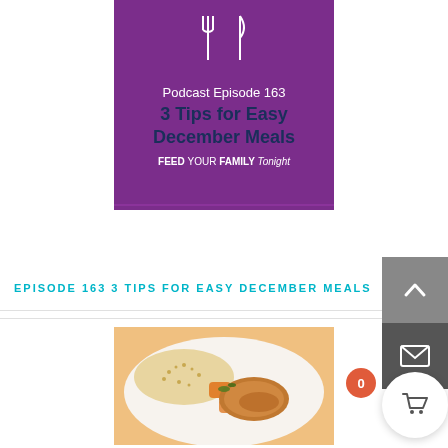[Figure (illustration): Purple podcast episode card for 'Feed Your Family Tonight' podcast. Shows crossed fork and knife icon at top, text reads 'Podcast Episode 163 / 3 Tips for Easy December Meals / FEED YOUR FAMILY Tonight' on purple background.]
EPISODE 163 3 TIPS FOR EASY DECEMBER MEALS
[Figure (photo): A plate of food showing what appears to be roasted chicken or pork with butternut squash and couscous or small pasta, garnished with herbs.]